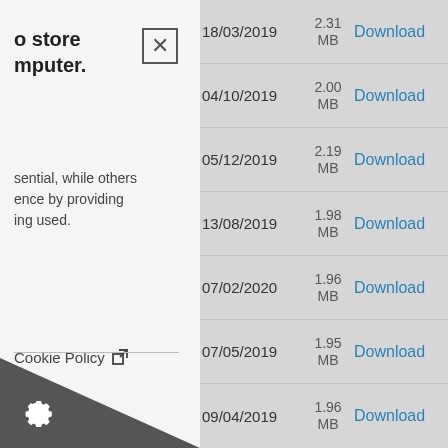to store
mputer.
sential, while others
ence by providing
ing used.
Cookie Policy [external link]
| Date | Size | Action |
| --- | --- | --- |
| 18/03/2019 | 2.31 MB | Download |
| 04/10/2019 | 2.00 MB | Download |
| 05/12/2019 | 2.19 MB | Download |
| 13/08/2019 | 1.98 MB | Download |
| 07/02/2020 | 1.96 MB | Download |
| 07/05/2019 | 1.95 MB | Download |
| 09/04/2019 | 1.96 MB | Download |